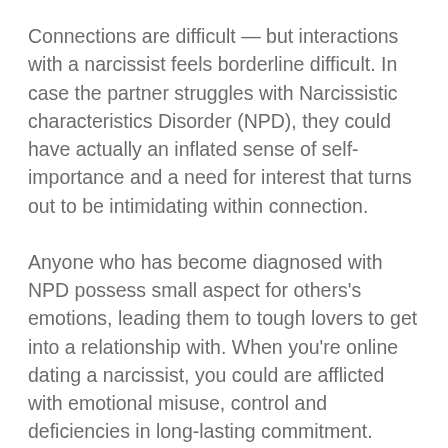Connections are difficult — but interactions with a narcissist feels borderline difficult. In case the partner struggles with Narcissistic characteristics Disorder (NPD), they could have actually an inflated sense of self-importance and a need for interest that turns out to be intimidating within connection.
Anyone who has become diagnosed with NPD possess small aspect for others's emotions, leading them to tough lovers to get into a relationship with. When you're online dating a narcissist, you could are afflicted with emotional misuse, control and deficiencies in long-lasting commitment.
Does this prompt your of the partnership? Discover tips determine if you may be matchmaking a narcissist — and